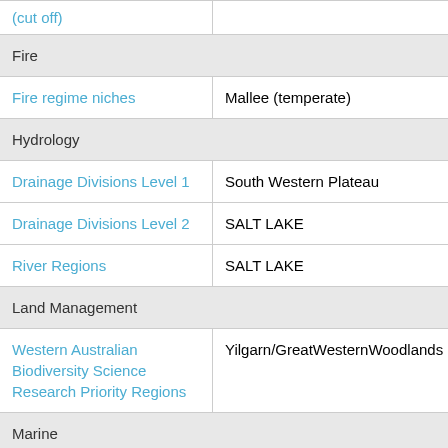| (partial) |  |
| Fire |  |
| Fire regime niches | Mallee (temperate) |
| Hydrology |  |
| Drainage Divisions Level 1 | South Western Plateau |
| Drainage Divisions Level 2 | SALT LAKE |
| River Regions | SALT LAKE |
| Land Management |  |
| Western Australian Biodiversity Science Research Priority Regions | Yilgarn/GreatWesternWoodlands |
| Marine |  |
| Marine Ecoregions of the World | Leeuwin |